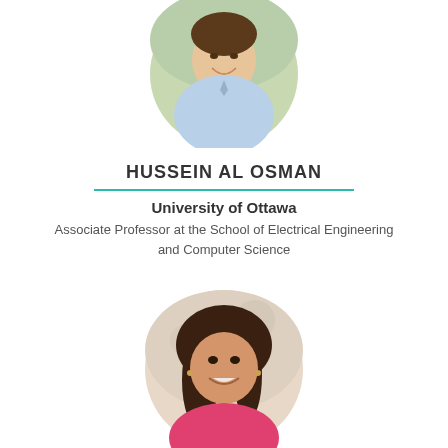[Figure (photo): Circular profile photo of Hussein Al Osman, a man in a light blue shirt, smiling, partially cropped at top of page]
HUSSEIN AL OSMAN
University of Ottawa
Associate Professor at the School of Electrical Engineering and Computer Science
[Figure (photo): Circular profile photo of a woman with long dark hair wearing a pink top, smiling, partially cropped at bottom of page]